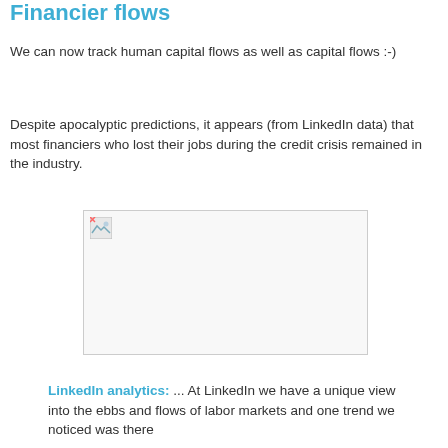Financier flows
We can now track human capital flows as well as capital flows :-)
Despite apocalyptic predictions, it appears (from LinkedIn data) that most financiers who lost their jobs during the credit crisis remained in the industry.
[Figure (photo): A broken/missing image placeholder with a small icon in the top-left corner, displayed inside a light gray bordered rectangle.]
LinkedIn analytics: ... At LinkedIn we have a unique view into the ebbs and flows of labor markets and one trend we noticed was there